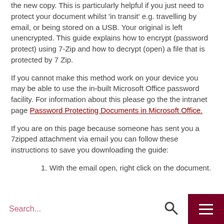the new copy. This is particularly helpful if you just need to protect your document whilst 'in transit' e.g. travelling by email, or being stored on a USB. Your original is left unencrypted. This guide explains how to encrypt (password protect) using 7-Zip and how to decrypt (open) a file that is protected by 7 Zip.
If you cannot make this method work on your device you may be able to use the in-built Microsoft Office password facility. For information about this please go the the intranet page Password Protecting Documents in Microsoft Office.
If you are on this page because someone has sent you a 7zipped attachment via email you can follow these instructions to save you downloading the guide:
1. With the email open, right click on the document.
Search...